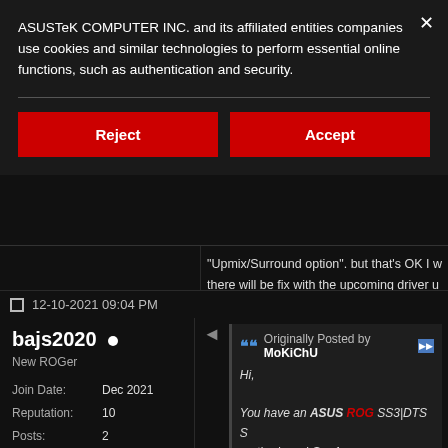ASUSTeK COMPUTER INC. and its affiliated entities companies use cookies and similar technologies to perform essential online functions, such as authentication and security.
Reject
Accept
"Upmix/Surround option". but that's OK I w there will be fix with the upcoming driver u
Thanks again dear .. wishing you a great
12-10-2021 09:04 PM
bajs2020 •
New ROGer
| Join Date: | Dec 2021 |
| Reputation: | 10 |
| Posts: | 2 |
Originally Posted by MoKiChU
Hi,
You have an ASUS ROG SS3|DTS S motherboard Gen1, so :
You need Realtek Audio Drivers (U MB) Gen1 or Gen2 (Recommend